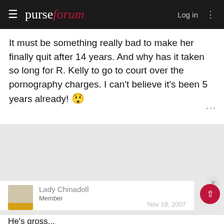purseforum  Log in
It must be something really bad to make her finally quit after 14 years. And why has it taken so long for R. Kelly to go to court over the pornography charges. I can't believe it's been 5 years already! 😲
[Figure (other): Advertisement / grey placeholder area]
Lady Chinadoll Member  Nov 19, 2007
He's gross...